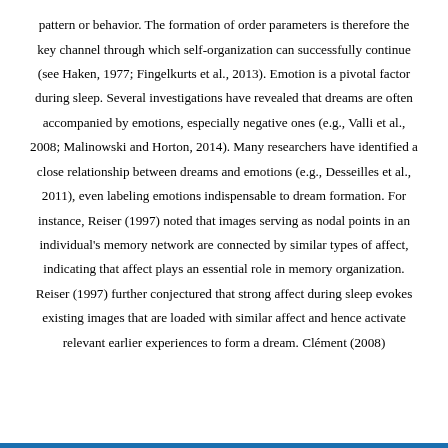pattern or behavior. The formation of order parameters is therefore the key channel through which self-organization can successfully continue (see Haken, 1977; Fingelkurts et al., 2013). Emotion is a pivotal factor during sleep. Several investigations have revealed that dreams are often accompanied by emotions, especially negative ones (e.g., Valli et al., 2008; Malinowski and Horton, 2014). Many researchers have identified a close relationship between dreams and emotions (e.g., Desseilles et al., 2011), even labeling emotions indispensable to dream formation. For instance, Reiser (1997) noted that images serving as nodal points in an individual's memory network are connected by similar types of affect, indicating that affect plays an essential role in memory organization. Reiser (1997) further conjectured that strong affect during sleep evokes existing images that are loaded with similar affect and hence activate relevant earlier experiences to form a dream. Clément (2008)